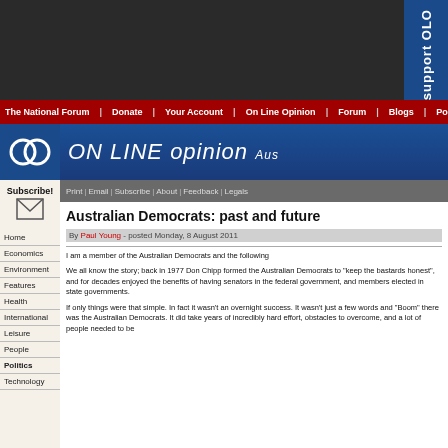ON LINE opinion - Australia's e-journal of social and political debate
The National Forum | Donate | Your Account | On Line Opinion | Forum | Blogs | Polling
Subscribe!
Home
Economics
Environment
Features
Health
International
Leisure
People
Politics
Technology
Print | Email | Subscribe | About | Feedback | Legals
Australian Democrats: past and future
By Paul Young - posted Monday, 8 August 2011
I am a member of the Australian Democrats and the following
We all know the story; back in 1977 Don Chipp formed the Australian Democrats to "keep the bastards honest", and for decades enjoyed the benefits of having senators in the federal government, and members elected in state governments.
If only things were that simple. In fact it wasn't an overnight success. It wasn't just a few words and "Boom" there was the Australian Democrats. It did take years of incredibly hard effort, obstacles to overcome, and a lot of people needed to be